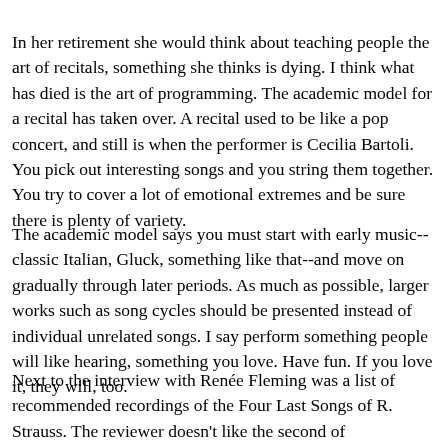In her retirement she would think about teaching people the art of recitals, something she thinks is dying. I think what has died is the art of programming. The academic model for a recital has taken over. A recital used to be like a pop concert, and still is when the performer is Cecilia Bartoli. You pick out interesting songs and you string them together. You try to cover a lot of emotional extremes and be sure there is plenty of variety.
The academic model says you must start with early music--classic Italian, Gluck, something like that--and move on gradually through later periods. As much as possible, larger works such as song cycles should be presented instead of individual unrelated songs. I say perform something people will like hearing, something you love. Have fun. If you love it, they will, too.
Next to the interview with Renée Fleming was a list of recommended recordings of the Four Last Songs of R. Strauss. The reviewer doesn't like the second of Schwarzkopf's recordings. He complains if the high notes are